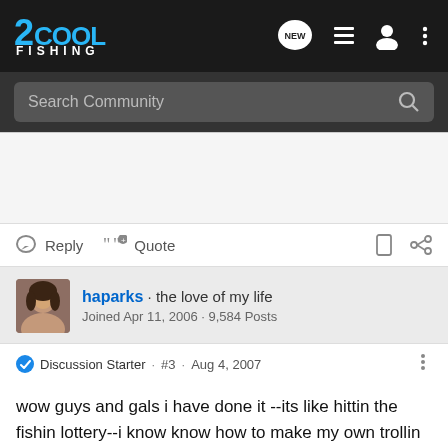2COOL FISHING — navigation bar with logo, search, and icons
Search Community
Reply   Quote
haparks · the love of my life
Joined Apr 11, 2006 · 9,584 Posts
Discussion Starter · #3 · Aug 4, 2007
wow guys and gals i have done it --its like hittin the fishin lottery--i know know how to make my own trollin lures the 3 i made last night all came out beautifully--im on top of the world--savin money in ways like this tickel me pink---all i have to do is